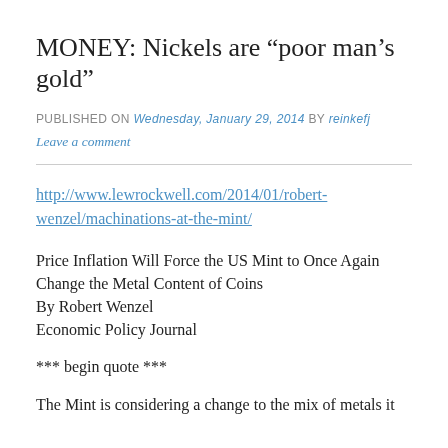MONEY: Nickels are “poor man’s gold”
PUBLISHED ON Wednesday, January 29, 2014 by reinkefj
Leave a comment
http://www.lewrockwell.com/2014/01/robert-wenzel/machinations-at-the-mint/
Price Inflation Will Force the US Mint to Once Again Change the Metal Content of Coins
By Robert Wenzel
Economic Policy Journal
*** begin quote ***
The Mint is considering a change to the mix of metals it